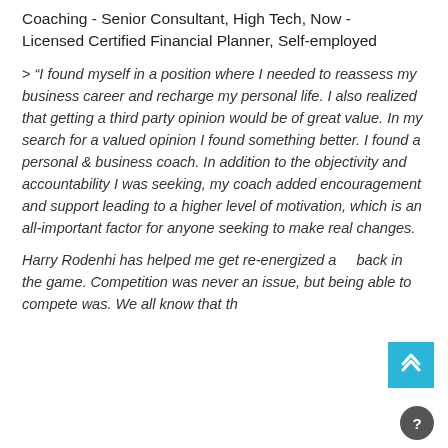Coaching - Senior Consultant, High Tech, Now - Licensed Certified Financial Planner, Self-employed
> "I found myself in a position where I needed to reassess my business career and recharge my personal life. I also realized that getting a third party opinion would be of great value. In my search for a valued opinion I found something better. I found a personal & business coach. In addition to the objectivity and accountability I was seeking, my coach added encouragement and support leading to a higher level of motivation, which is an all-important factor for anyone seeking to make real changes.
Harry Rodenhi has helped me get re-energized and back in the game. Competition was never an issue, but being able to compete was. We all know that the